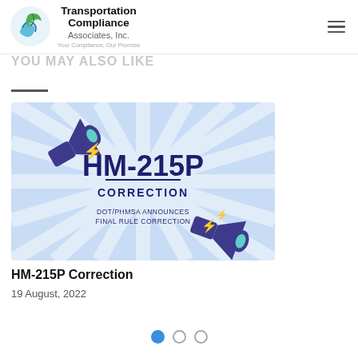Transportation Compliance Associates, Inc. — Your Compliance, Our Promise
YOU MAY ALSO LIKE
[Figure (illustration): Promotional banner image with a light blue sunburst background, megaphone graphics (dark blue/indigo color with teal tips), yellow lightning bolt accents, and bold text reading 'HM-215P CORRECTION' with subtitle 'DOT/PHMSA ANNOUNCES FINAL RULE CORRECTION']
HM-215P Correction
19 August, 2022